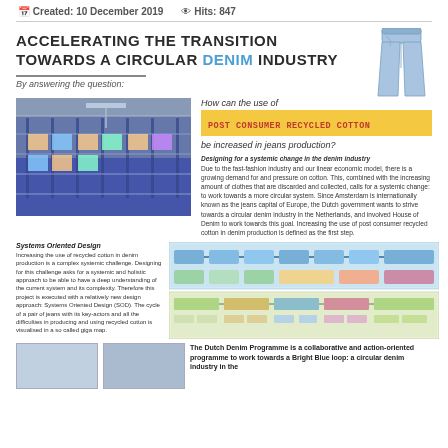Created: 10 December 2019   Hits: 847
ACCELERATING THE TRANSITION TOWARDS A CIRCULAR DENIM INDUSTRY
By answering the question:
[Figure (photo): Warehouse with clothing production or sorting facility]
How can the use of POST CONSUMER RECYCLED COTTON be increased in jeans production?
Designing for a systemic change in the denim industry. Due to the fast-fashion industry and our linear economic model, there is a growing demand for and pressure on cotton. This, combined with the increasing amount of clothes that are discarded and collected, calls for a systemic change: to work towards a more circular system. Since Amsterdam is internationally known as the jeans capital of Europe, the Dutch government wants to strive towards a circular denim industry in the Netherlands, and involved House of Denim to work towards this goal. Increasing the use of post consumer recycled cotton in denim production is defined as the first step.
Systems Oriented Design
Increasing the use of recycled cotton in denim production is a complex systemic challenge. Designing for this challenge asks for a systemic and holistic approach to be able to have a deep understanding of the current system and its complexity. Therefore this project is executed with a relatively new design approach: Systems Oriented Design (SOD). The cycle of a pair of jeans with its key-actors and all the difficulties in producing and using recycled cotton is visualised in a so called giga map.
[Figure (infographic): Systems oriented design diagrams / giga maps showing the denim cycle]
The Dutch Denim Programme is a collaborative and action-oriented programme to work towards a Bright Blue loop: a circular denim industry in the